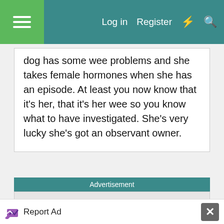Log in  Register
dog has some wee problems and she takes female hormones when she has an episode. At least you now know that it's her, that it's her wee so you know what to have investigated. She's very lucky she's got an observant owner.
Advertisement
[Figure (other): Advertisement area - grey placeholder box]
Report Ad